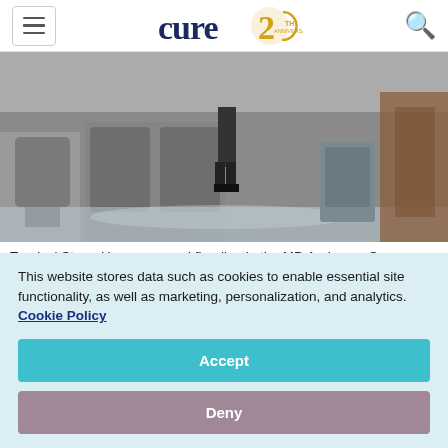cure 20th anniversary
[Figure (photo): Flooding inside MD Anderson Cancer Center caused by Tropical Storm Harvey, showing water on floors between hospital chairs and furniture]
Tropical Storm Harvey caused flooding in the MD Anderson Cancer Center - PHOTO BY The Montgomery Page
Tropical Storm Harvey caused flooding in the MD...
This website stores data such as cookies to enable essential site functionality, as well as marketing, personalization, and analytics. Cookie Policy
Accept
Deny